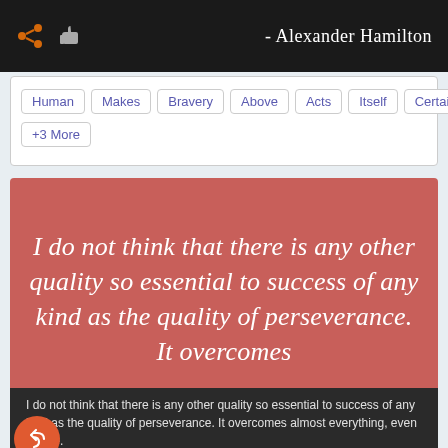- Alexander Hamilton
Human | Makes | Bravery | Above | Acts | Itself | Certain | Rise | +3 More
[Figure (illustration): Red/salmon colored quote card with italic white text reading: I do not think that there is any other quality so essential to success of any kind as the quality of perseverance. It overcomes]
I do not think that there is any other quality so essential to success of any kind as the quality of perseverance. It overcomes almost everything, even nature.